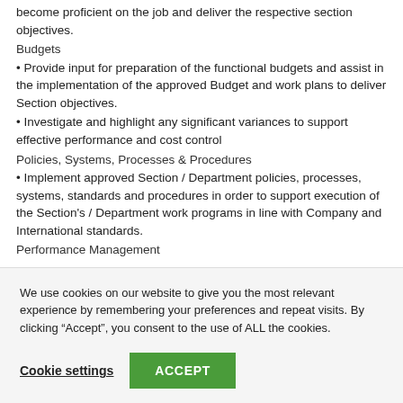Train and develop the assigned staff on relevant skills to enable them to become proficient on the job and deliver the respective section objectives.
Budgets
• Provide input for preparation of the functional budgets and assist in the implementation of the approved Budget and work plans to deliver Section objectives.
• Investigate and highlight any significant variances to support effective performance and cost control
Policies, Systems, Processes & Procedures
• Implement approved Section / Department policies, processes, systems, standards and procedures in order to support execution of the Section's / Department work programs in line with Company and International standards.
Performance Management
We use cookies on our website to give you the most relevant experience by remembering your preferences and repeat visits. By clicking “Accept”, you consent to the use of ALL the cookies.
Cookie settings  ACCEPT